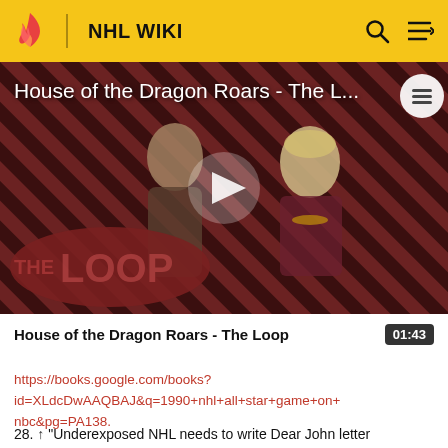NHL WIKI
[Figure (screenshot): Video thumbnail for 'House of the Dragon Roars - The Loop' showing two characters with diagonal striped background. A play button is visible in the center. The Loop logo is shown in the lower left. Duration badge 01:43 shown below.]
House of the Dragon Roars - The Loop
https://books.google.com/books?id=XLdcDwAAQBAJ&q=1990+nhl+all+star+game+on+nbc&pg=PA138.
28. ↑ "Underexposed NHL needs to write Dear John letter